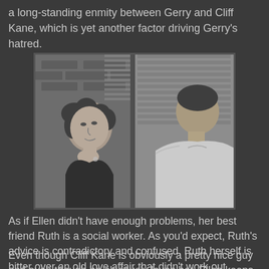a long-standing enmity between Gerry and Cliff Kane, which is yet another factor driving Gerry’s hatred.
[Figure (photo): A black-and-white film still showing a woman with curly hair looking up at a man in a white shirt, standing against a brick wall with blinds visible in the background.]
As if Ellen didn’t have enough problems, her best friend Ruth is a social worker. As you'd expect, Ruth’s advice is contradictory and confused. Ruth herself is bitter over an old love affair that didn’t work out.
Even though Cliff Kane is obviously a pretty nice guy and even though he obviously loves her, Ellen keeps pushing him